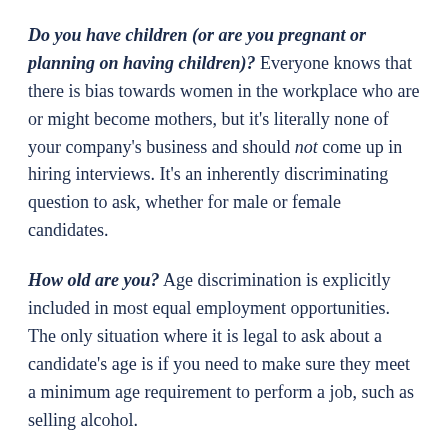Do you have children (or are you pregnant or planning on having children)? Everyone knows that there is bias towards women in the workplace who are or might become mothers, but it's literally none of your company's business and should not come up in hiring interviews. It's an inherently discriminating question to ask, whether for male or female candidates.
How old are you? Age discrimination is explicitly included in most equal employment opportunities. The only situation where it is legal to ask about a candidate's age is if you need to make sure they meet a minimum age requirement to perform a job, such as selling alcohol.